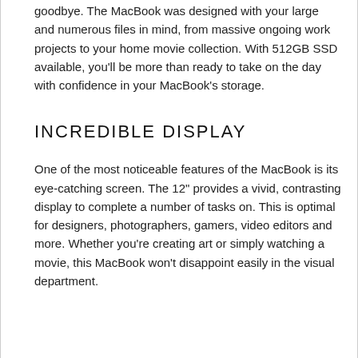goodbye. The MacBook was designed with your large and numerous files in mind, from massive ongoing work projects to your home movie collection. With 512GB SSD available, you'll be more than ready to take on the day with confidence in your MacBook's storage.
INCREDIBLE DISPLAY
One of the most noticeable features of the MacBook is its eye-catching screen. The 12" provides a vivid, contrasting display to complete a number of tasks on. This is optimal for designers, photographers, gamers, video editors and more. Whether you're creating art or simply watching a movie, this MacBook won't disappoint easily in the visual department.